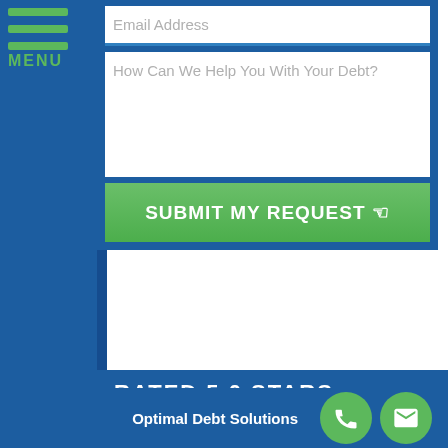[Figure (screenshot): Web form with email address field, textarea asking 'How Can We Help You With Your Debt?', and a green 'SUBMIT MY REQUEST' button on a blue background with a hamburger menu on the left]
RATED 5.0 STARS
[Figure (infographic): Five gold/yellow star rating icons]
(Based on 321 Client Reviews)
Optimal Debt Solutions